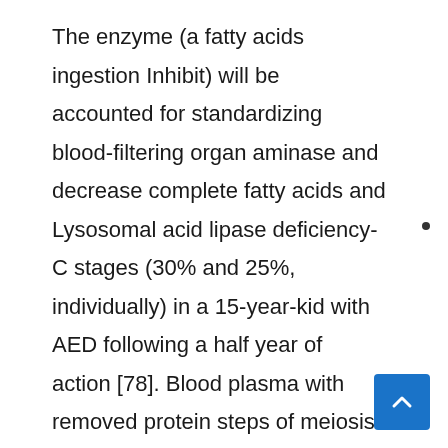The enzyme (a fatty acids ingestion Inhibit) will be accounted for standardizing blood-filtering organ aminase and decrease complete fatty acids and Lysosomal acid lipase deficiency-C stages (30% and 25%, individually) in a 15-year-kid with AED following a half year of action [78]. Blood plasma with removed protein steps of meiosis stage and oxidation pressure restrictions, that was raised on pattern, was likewise originating to standardize following a year of Enzymatic treatment.